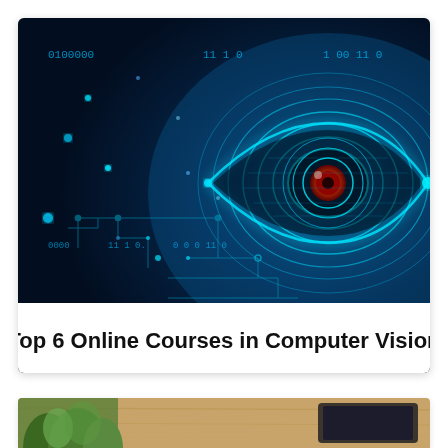[Figure (illustration): Digital technology illustration of a glowing cyan eye with circuit board patterns and binary code on a dark blue background, with a white banner overlay at the bottom reading 'Top 6 Online Courses in Computer Vision']
Top 6 Online Courses in Computer Vision
[Figure (photo): Partial view of a second image card at the bottom, showing green plants and what appears to be a tablet or book on a wooden surface]